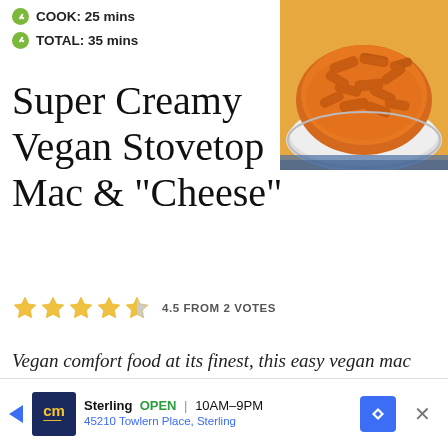COOK: 25 mins
TOTAL: 35 mins
[Figure (photo): Bowl of creamy orange vegan mac and cheese pasta]
Super Creamy Vegan Stovetop Mac & "Cheese"
4.5 FROM 2 VOTES
Vegan comfort food at its finest, this easy vegan mac and cheese is made with sweet potatoes, butternut squash, and other mainstream real-food ingredients. No weird
[Figure (other): Advertisement banner for cm Sterling, OPEN 10AM-9PM, 45210 Towlern Place, Sterling]